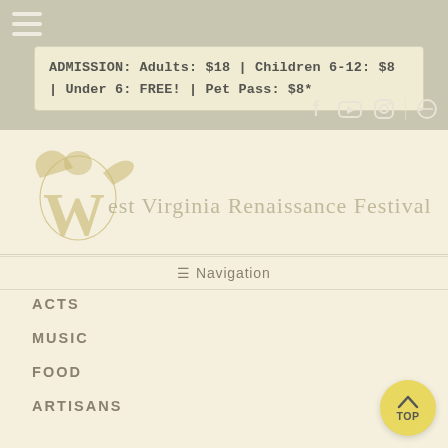[Figure (screenshot): Website header for West Virginia Renaissance Festival showing hamburger menu, admission pricing banner, social media icons, festival logo, navigation menu, and page navigation items (ACTS, MUSIC, FOOD, ARTISANS)]
ADMISSION: Adults: $18 | Children 6-12: $8 | Under 6: FREE! | Pet Pass: $8*
[Figure (logo): West Virginia Renaissance Festival logo with decorative medieval-style winged figure and ornate lettering]
≡ Navigation
ACTS
MUSIC
FOOD
ARTISANS